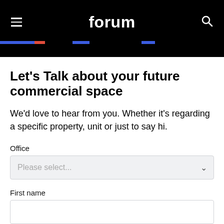forum
Let's Talk about your future commercial space
We'd love to hear from you. Whether it's regarding a specific property, unit or just to say hi.
Office
Please select...
First name